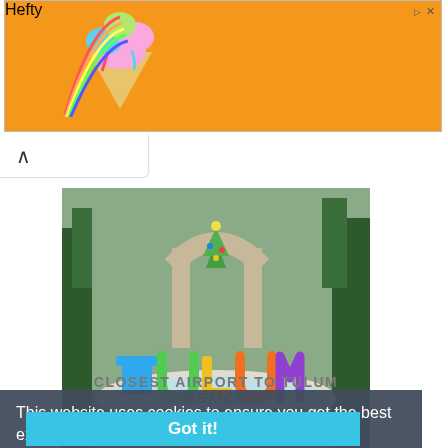[Figure (photo): Hefty brand advertisement banner with orange background, ice cream graphic, and Hefty logo in blue]
[Figure (photo): Large colorful TULUM sign with colored letters (blue T, green U, yellow L, orange U, purple M) on a circular platform, with stone arch and palm trees in background]
This website uses cookies to ensure you get the best experience on our website.
Learn more
CLOSEST AIRPORT TO TULUM MEXICO
Got it!
Tulum, Mexico with its incredibly beautiful sandy beaches has emerged as one of the popular destinations for holidaying. Tulum is a coastal town in Riviera Maya that